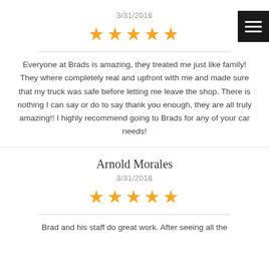3/31/2016
[Figure (other): 5 gold star rating]
Everyone at Brads is amazing, they treated me just like family! They where completely real and upfront with me and made sure that my truck was safe before letting me leave the shop. There is nothing I can say or do to say thank you enough, they are all truly amazing!! I highly recommend going to Brads for any of your car needs!
Arnold Morales
3/31/2016
[Figure (other): 5 gold star rating]
Brad and his staff do great work. After seeing all the